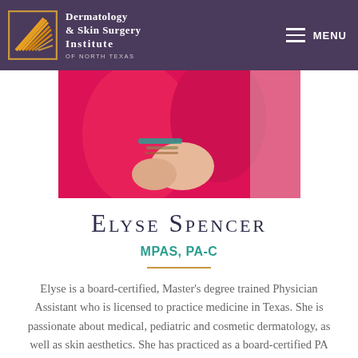Dermatology & Skin Surgery Institute of North Texas
[Figure (photo): Photo of Elyse Spencer wearing a red outfit, showing her arms with bracelets and jewelry, seated pose cropped to torso and arms.]
Elyse Spencer
MPAS, PA-C
Elyse is a board-certified, Master's degree trained Physician Assistant who is licensed to practice medicine in Texas. She is passionate about medical, pediatric and cosmetic dermatology, as well as skin aesthetics. She has practiced as a board-certified PA since 2005. In 2009, she